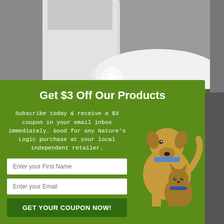[Figure (photo): Background photo showing white plastic containers or bottle on a speckled surface, partially visible with a play button overlay.]
Get $3 Off Our Products
Subscribe today & receive a $3 coupon in your email inbox immediately. Good for any Nature's Logic purchase at your local independent retailer.
[Figure (illustration): Illustrated cartoon of a large golden/yellow Labrador dog with a blue collar and a smaller brown cat beside it, on green background.]